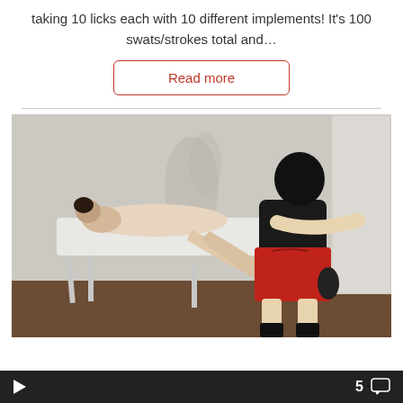taking 10 licks each with 10 different implements! It’s 100 swats/strokes total and…
Read more
[Figure (photo): A person lying face-down on a massage table, and another person standing beside them wearing a black mask, black vest, and red shorts, holding an object.]
5